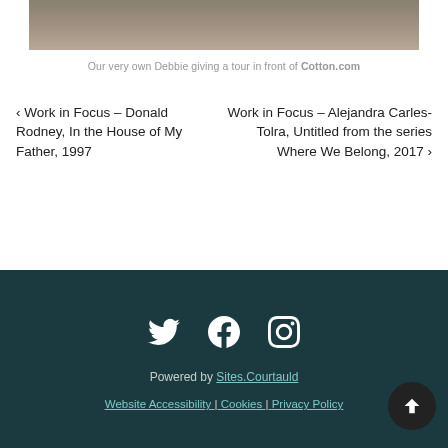[Figure (photo): Cropped bottom portion of a photo showing a person giving a tour, visible from waist down, standing on wooden floor in front of a wall.]
Our very own Debbie giving a tour in front of Cotton.com
< Work in Focus – Donald Rodney, In the House of My Father, 1997
Work in Focus – Alejandra Carles-Tolra, Untitled from the series Where We Belong, 2017 >
Powered by Sites.Courtauld | Website Accessibility | Cookies | Privacy Policy